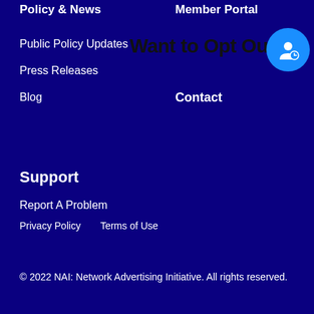Policy & News
Public Policy Updates
Press Releases
Blog
Member Portal
Want to Opt Out?
Contact
[Figure (other): Blue circle icon with a person/user account symbol]
Support
Report A Problem
Privacy Policy
Terms of Use
© 2022 NAI: Network Advertising Initiative. All rights reserved.